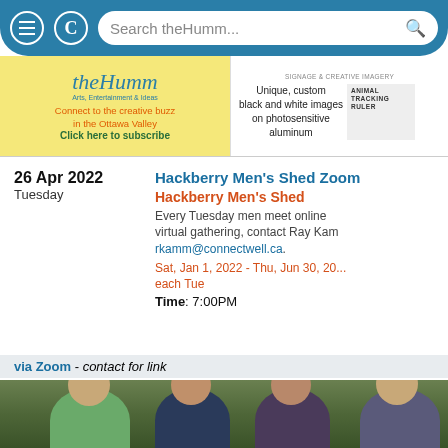[Figure (screenshot): Mobile browser navigation bar with hamburger menu, refresh button, and search field showing 'Search theHumm...']
[Figure (screenshot): Two banner advertisements: left banner for theHumm with yellow background 'Connect to the creative buzz in the Ottawa Valley - Click here to subscribe'; right banner for signage and creative imagery with custom black and white images on photosensitive aluminum, including animal tracking ruler product]
26 Apr 2022
Tuesday
Hackberry Men's Shed Zoom
Hackberry Men's Shed
Every Tuesday men meet online virtual gathering, contact Ray Kam rkamm@connectwell.ca.
Sat, Jan 1, 2022 - Thu, Jun 30, 20...
each Tue
Time: 7:00PM
via Zoom - contact for link
[Figure (photo): Group photo of four older men outdoors with trees in background]